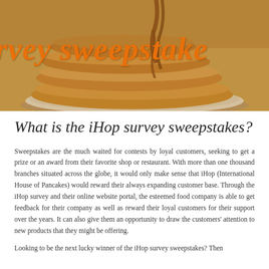[Figure (photo): Stack of pancakes with syrup being poured over them on a plate, with orange italic text overlay reading 'rvey sweepstake' (partial, cropped).]
What is the iHop survey sweepstakes?
Sweepstakes are the much waited for contests by loyal customers, seeking to get a prize or an award from their favorite shop or restaurant. With more than one thousand branches situated across the globe, it would only make sense that iHop (International House of Pancakes) would reward their always expanding customer base. Through the iHop survey and their online website portal, the esteemed food company is able to get feedback for their company as well as reward their loyal customers for their support over the years. It can also give them an opportunity to draw the customers' attention to new products that they might be offering.
Looking to be the next lucky winner of the iHop survey sweepstakes? Then